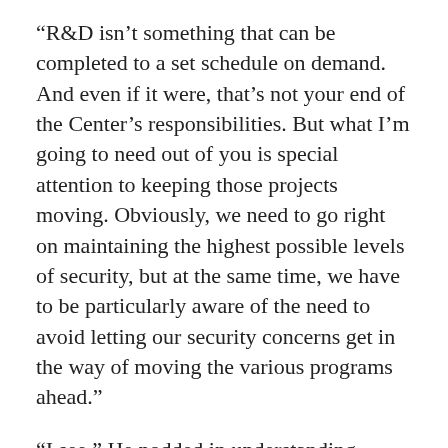“R&D isn’t something that can be completed to a set schedule on demand. And even if it were, that’s not your end of the Center’s responsibilities. But what I’m going to need out of you is special attention to keeping those projects moving. Obviously, we need to go right on maintaining the highest possible levels of security, but at the same time, we have to be particularly aware of the need to avoid letting our security concerns get in the way of moving the various programs ahead.”
“I see.” He nodded in understanding.
“I know you’ve always tried to do that anyway,” Bardasano said. “I imagine having Zachariah as a sounding board hasn’t hurt in that respect, and I’m specifically authorizing you to go on doing that. I know the Gamma Center…”